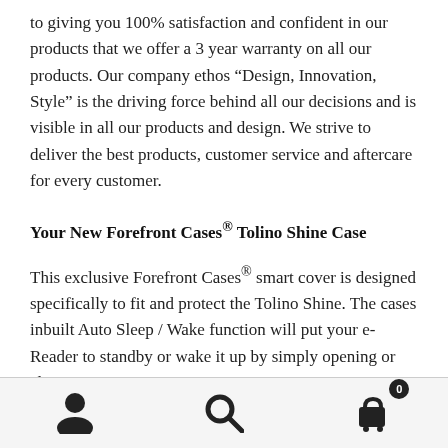to giving you 100% satisfaction and confident in our products that we offer a 3 year warranty on all our products. Our company ethos ‘Design, Innovation, Style’ is the driving force behind all our decisions and is visible in all our products and design. We strive to deliver the best products, customer service and aftercare for every customer.
Your New Forefront Cases® Tolino Shine Case
This exclusive Forefront Cases® smart cover is designed specifically to fit and protect the Tolino Shine. The cases inbuilt Auto Sleep / Wake function will put your e-Reader to standby or wake it up by simply opening or closing it.
[Figure (other): Bottom navigation bar with three icons: user/account icon on the left, search magnifying glass icon in the center, and shopping cart icon with badge showing '0' on the right.]